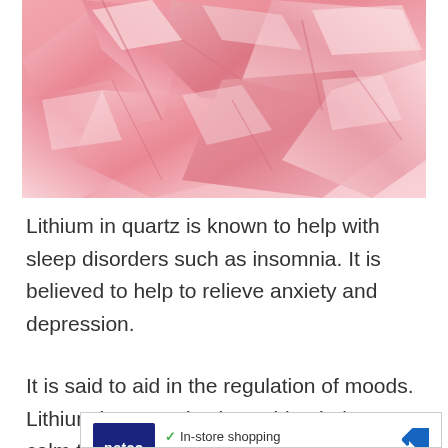[Figure (photo): Close-up photo of rough pink/rose quartz crystals with a soft pink hue and crystalline texture]
Lithium in quartz is known to help with sleep disorders such as insomnia. It is believed to help to relieve anxiety and depression.
It is said to aid in the regulation of moods. Lithium in quartz is also said to help to calm the nerves
[Figure (other): Advertisement for Petco showing logo, In-store shopping and Curbside pickup checkmarks, navigation arrow icon, and ad controls (play and close buttons)]